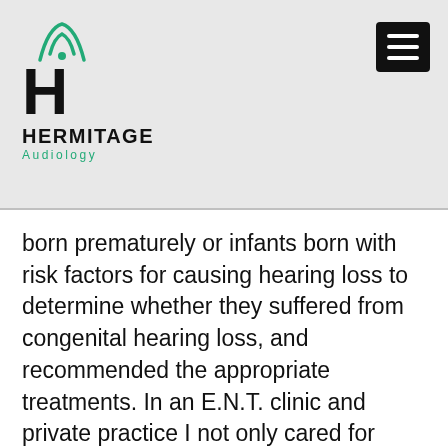[Figure (logo): Hermitage Audiology logo with green radio wave icon above a bold H, company name HERMITAGE in black bold, Audiology in green below]
born prematurely or infants born with risk factors for causing hearing loss to determine whether they suffered from congenital hearing loss, and recommended the appropriate treatments. In an E.N.T. clinic and private practice I not only cared for patients with hearing loss and provided amplification to improve their quality of life for communication, but I also provided vestibular/balance testing and treatment plans. Many patients that suffer from dizziness/vertigo or imbalance also have a hearing loss. It's important to know this because there could be two separate issues or the